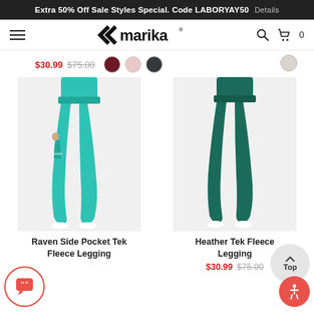Extra 50% Off Sale Styles Special. Code LABORYAY50  Details
[Figure (logo): Marika brand logo with stylized chevron/arrow icon and 'marika' wordmark in bold black]
$30.99  $75.00
[Figure (illustration): Three color swatches: burgundy, blush pink, charcoal. One oatmeal/light grey swatch on the right.]
[Figure (photo): Woman wearing teal/turquoise Raven Side Pocket Tek Fleece Leggings, shown from waist down, with side pocket visible.]
[Figure (photo): Woman wearing dark teal/forest green Heather Tek Fleece Leggings, shown from waist down.]
Raven Side Pocket Tek Fleece Legging
Heather Tek Fleece Legging
$30.99  $75.00